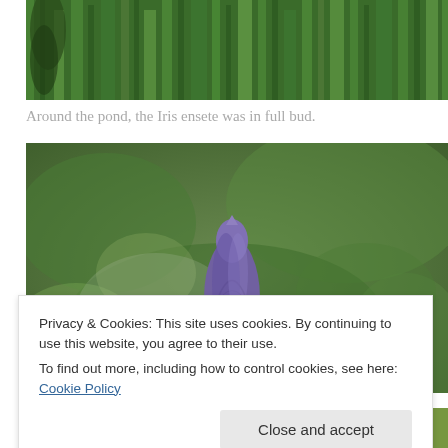[Figure (photo): Close-up of green iris leaves and foliage around a pond, top portion of image cropped]
Around the pond, the Iris ensete was in full bud.
[Figure (photo): Purple iris flower bud against a blurred green background, flower is in full bud stage]
Privacy & Cookies: This site uses cookies. By continuing to use this website, you agree to their use.
To find out more, including how to control cookies, see here: Cookie Policy
[Figure (photo): Bottom strip of a photo showing yellow/green foliage]